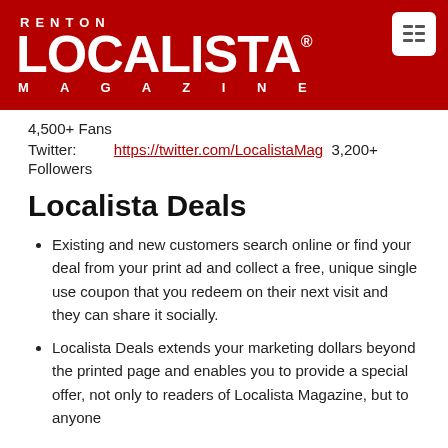[Figure (logo): Renton Localista Magazine logo on red background with white menu icon in top right corner]
4,500+ Fans
Twitter: https://twitter.com/LocalistaMag 3,200+ Followers
Localista Deals
Existing and new customers search online or find your deal from your print ad and collect a free, unique single use coupon that you redeem on their next visit and they can share it socially.
Localista Deals extends your marketing dollars beyond the printed page and enables you to provide a special offer, not only to readers of Localista Magazine, but to anyone